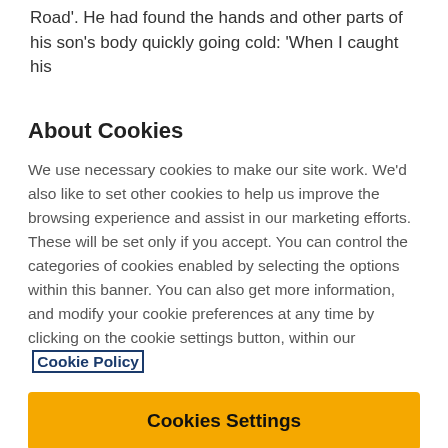Road'. He had found the hands and other parts of his son's body quickly going cold: 'When I caught his
About Cookies
We use necessary cookies to make our site work. We'd also like to set other cookies to help us improve the browsing experience and assist in our marketing efforts. These will be set only if you accept. You can control the categories of cookies enabled by selecting the options within this banner. You can also get more information, and modify your cookie preferences at any time by clicking on the cookie settings button, within our Cookie Policy
Cookies Settings